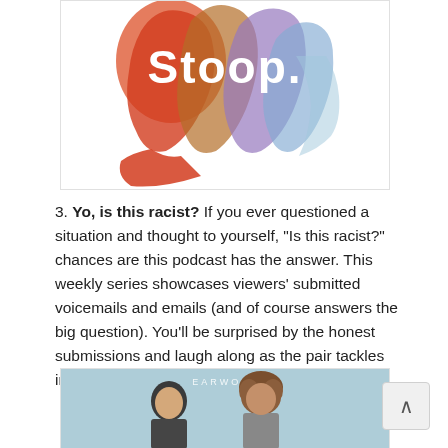[Figure (illustration): Stoop podcast logo: overlapping colorful silhouettes of human heads in orange, red, blue, and purple watercolor style with the word 'Stoop.' in bold white text]
3. Yo, is this racist? If you ever questioned a situation and thought to yourself, "Is this racist?" chances are this podcast has the answer. This weekly series showcases viewers' submitted voicemails and emails (and of course answers the big question). You'll be surprised by the honest submissions and laugh along as the pair tackles important issues head-on with humor.
[Figure (photo): Earwolf podcast cover photo showing a man in a suit and a woman with curly red hair, light blue background, with EARWOLF text at top]